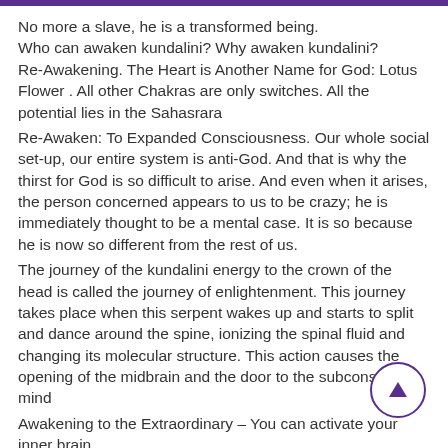No more a slave, he is a transformed being.
Who can awaken kundalini? Why awaken kundalini?
Re-Awakening. The Heart is Another Name for God: Lotus Flower . All other Chakras are only switches. All the potential lies in the Sahasrara
Re-Awaken: To Expanded Consciousness. Our whole social set-up, our entire system is anti-God. And that is why the thirst for God is so difficult to arise. And even when it arises, the person concerned appears to us to be crazy; he is immediately thought to be a mental case. It is so because he is now so different from the rest of us.
The journey of the kundalini energy to the crown of the head is called the journey of enlightenment. This journey takes place when this serpent wakes up and starts to split and dance around the spine, ionizing the spinal fluid and changing its molecular structure. This action causes the opening of the midbrain and the door to the subconscious mind
Awakening to the Extraordinary – You can activate your inner brain
AWAKENING THE INNER POTENTIAL – The fourth